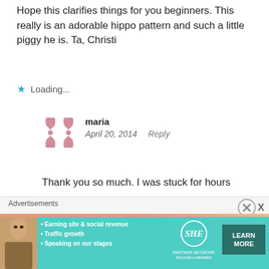Hope this clarifies things for you beginners. This really is an adorable hippo pattern and such a little piggy he is. Ta, Christi
Loading...
maria
April 20, 2014  Reply
Thank you so much. I was stuck for hours
Loading...
Ruth del Valle
Advertisements
[Figure (infographic): SHE Partner Network advertisement banner with photo of woman, bullet points about Earning site & social revenue, Traffic growth, Speaking on our stages, and a Learn More button]